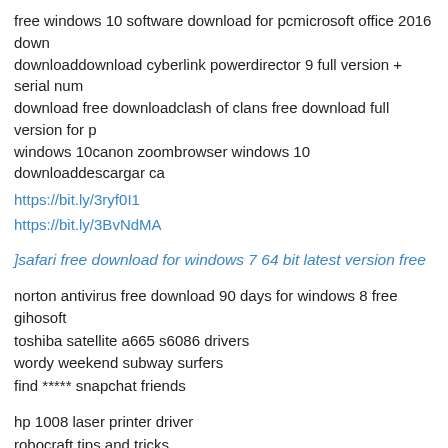free windows 10 software download for pcmicrosoft office 2016 downloaddownload cyberlink powerdirector 9 full version + serial numdownload free downloadclash of clans free download full version for windows 10canon zoombrowser windows 10 downloaddescargar ca
https://bit.ly/3ryf0I1
https://bit.ly/3BvNdMA
]safari free download for windows 7 64 bit latest version free
norton antivirus free download 90 days for windows 8 free
gihosoft
toshiba satellite a665 s6086 drivers
wordy weekend subway surfers
find ***** snapchat friends
hp 1008 laser printer driver
robocraft tips and tricks
kika emoji keyboard pro apk
microsoft security essentials windows 64 bit download free
sniper 2 ghost warrior system requirements
https://bit.ly/3BhvdW6